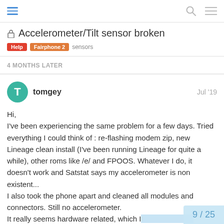≡ [search] [menu]
🔒 Accelerometer/Tilt sensor broken
Help  Fairphone 2  sensors
4 MONTHS LATER
tomgey  Jul '19
Hi,
I've been experiencing the same problem for a few days. Tried everything I could think of : re-flashing modem zip, new Lineage clean install (I've been running Lineage for quite a while), other roms like /e/ and FPOOS. Whatever I do, it doesn't work and Satstat says my accelerometer is non existent...
I also took the phone apart and cleaned all modules and connectors. Still no accelerometer.
It really seems hardware related, which I pissed as I've been a happy FP2 user for